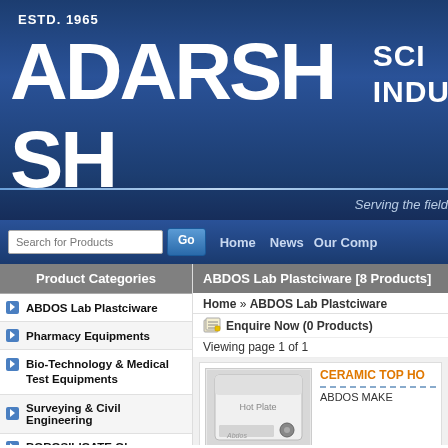ESTD. 1965  ADARSH SCIENTIFIC INDUSTRIES  Serving the field
Search for Products  Go  Home  News  Our Company
Product Categories
ABDOS Lab Plastciware
Pharmacy Equipments
Bio-Technology & Medical Test Equipments
Surveying & Civil Engineering
BOROSILICATE Glassware
NURSING Products (ANM / GNM)
Physics Lab Equipment
ABDOS Lab Plastciware [8 Products]
Home » ABDOS Lab Plastciware
Enquire Now (0 Products)
Viewing page 1 of 1
[Figure (photo): CERAMIC TOP HOT PLATE - white lab hot plate with ABDOS branding and control knob]
CERAMIC TOP HO...
ABDOS MAKE
[Figure (photo): CRYO VIAL Sterlie - black image placeholder for cryovial product]
CRYO VIAL Sterlie...